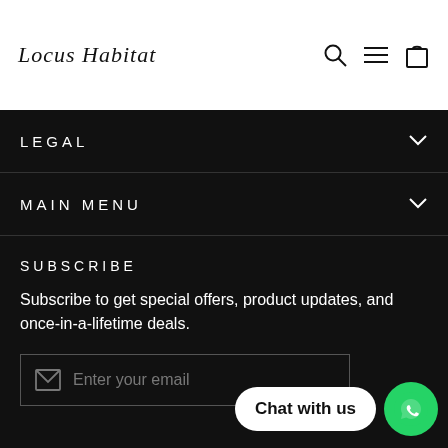Locus Habitat
LEGAL
MAIN MENU
SUBSCRIBE
Subscribe to get special offers, product updates, and once-in-a-lifetime deals.
Enter your email
Chat with us